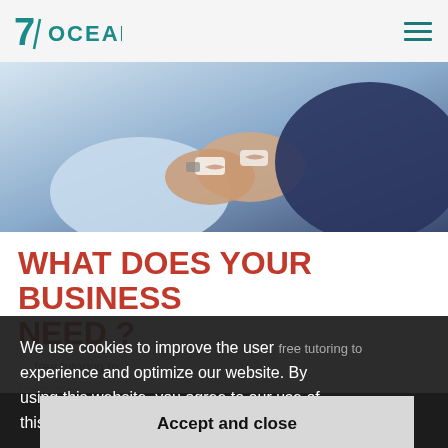7 OCEAN
[Figure (photo): Two people shaking hands, partially visible — business handshake scene with blue and light tones]
WHAT DOES YOUR BUSINESS NEED ?
We use cookies to improve the user experience and optimize our website. By using this website, you agree to our use of this information.  More info
Accept and close
[Figure (photo): Bottom portion of a person's face with glasses, dark background]